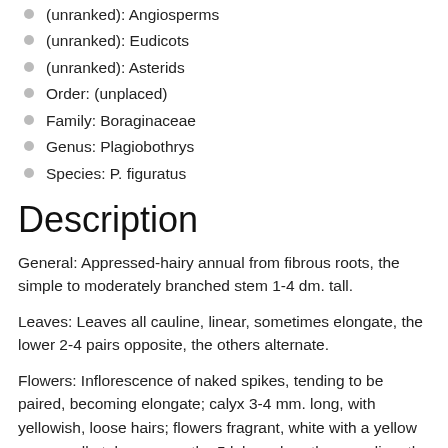(unranked): Angiosperms
(unranked): Eudicots
(unranked): Asterids
Order: (unplaced)
Family: Boraginaceae
Genus: Plagiobothrys
Species: P. figuratus
Description
General: Appressed-hairy annual from fibrous roots, the simple to moderately branched stem 1-4 dm. tall.
Leaves: Leaves all cauline, linear, sometimes elongate, the lower 2-4 pairs opposite, the others alternate.
Flowers: Inflorescence of naked spikes, tending to be paired, becoming elongate; calyx 3-4 mm. long, with yellowish, loose hairs; flowers fragrant, white with a yellow eye; corolla tube narrow, the 5 lobes abruptly spreading, the limb 5-10 wide; hairy appendages opposite the corolla lobes at the top of the tube; nutlets attached to the style in a small area near the base.